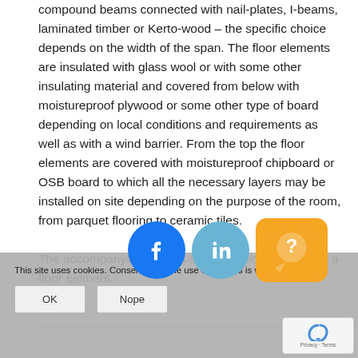compound beams connected with nail-plates, I-beams, laminated timber or Kerto-wood – the specific choice depends on the width of the span. The floor elements are insulated with glass wool or with some other insulating material and covered from below with moistureproof plywood or some other type of board depending on local conditions and requirements as well as with a wind barrier. From the top the floor elements are covered with moistureproof chipboard or OSB board to which all the necessary layers may be installed on site depending on the purpose of the room, from parquet flooring to ceramic tiles.
The accompanying images show a typical section for a floor element.
[Figure (other): Cookie consent overlay with OK and Nope buttons, social media icons (Facebook, LinkedIn, Help/Q icon), and reCAPTCHA badge]